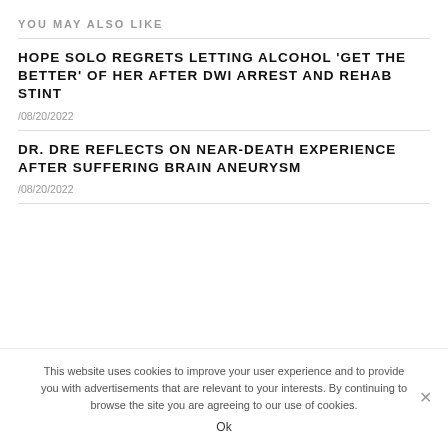YOU MAY ALSO LIKE
HOPE SOLO REGRETS LETTING ALCOHOL 'GET THE BETTER' OF HER AFTER DWI ARREST AND REHAB STINT
/08/20/2022
DR. DRE REFLECTS ON NEAR-DEATH EXPERIENCE AFTER SUFFERING BRAIN ANEURYSM
/08/20/2022
This website uses cookies to improve your user experience and to provide you with advertisements that are relevant to your interests. By continuing to browse the site you are agreeing to our use of cookies.
Ok